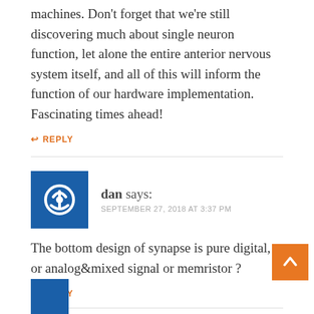machines. Don’t forget that we’re still discovering much about single neuron function, let alone the entire anterior nervous system itself, and all of this will inform the function of our hardware implementation. Fascinating times ahead!
REPLY
dan says: SEPTEMBER 27, 2018 AT 3:37 PM
The bottom design of synapse is pure digital, or analog&mixed signal or memristor ?
REPLY